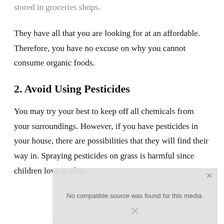stored in groceries shops.
They have all that you are looking for at an affordable. Therefore, you have no excuse on why you cannot consume organic foods.
2. Avoid Using Pesticides
You may try your best to keep off all chemicals from your surroundings. However, if you have pesticides in your house, there are possibilities that they will find their way in. Spraying pesticides on grass is harmful since children love to play.
[Figure (screenshot): Media player overlay showing 'No compatible source was found for this media.' with a close button and X symbol.]